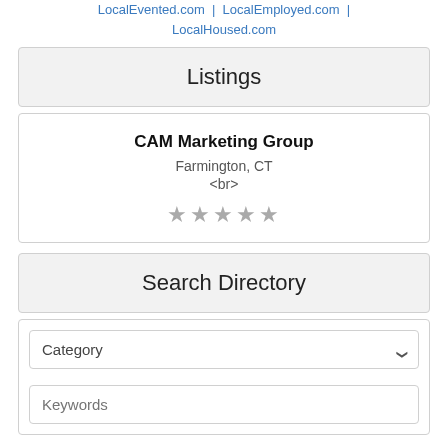LocalEvented.com | LocalEmployed.com | LocalHoused.com
Listings
CAM Marketing Group
Farmington, CT
<br>
★★★★★
Search Directory
Category [dropdown]
Keywords [input]